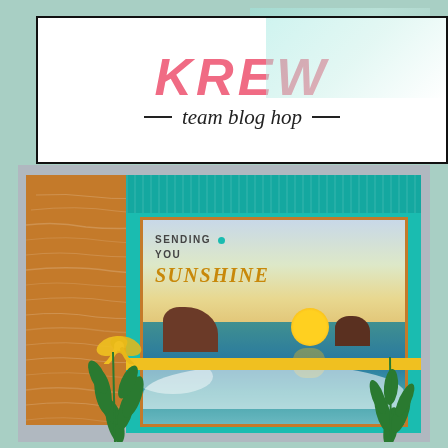[Figure (logo): KREW team blog hop logo in a white box with black border. 'KREW' in large pink/coral bold italic letters, 'team blog hop' in black italic script below with decorative dashes on each side.]
[Figure (photo): Handmade greeting card featuring a coastal sunset scene. The card has a wood-grain patterned brown paper background, teal/turquoise textured paper layer, and a main panel showing a painted beach sunset with text 'SENDING YOU Sunshine'. The scene includes cliffs, ocean water, a large orange sun setting on the horizon, white foam waves, green tropical foliage on left and right sides, and a yellow ribbon bow on the left side with a yellow horizontal ribbon band across the middle.]